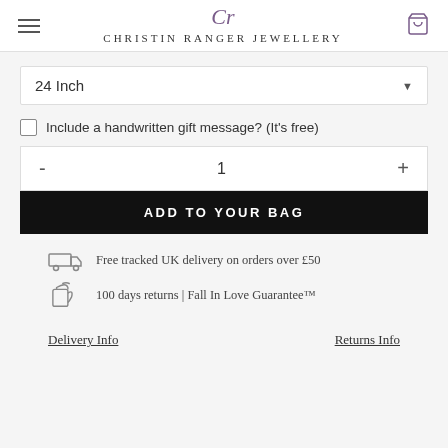Christin Ranger Jewellery
24 Inch
Include a handwritten gift message? (It's free)
- 1 +
ADD TO YOUR BAG
Free tracked UK delivery on orders over £50
100 days returns | Fall In Love Guarantee™
Delivery Info    Returns Info